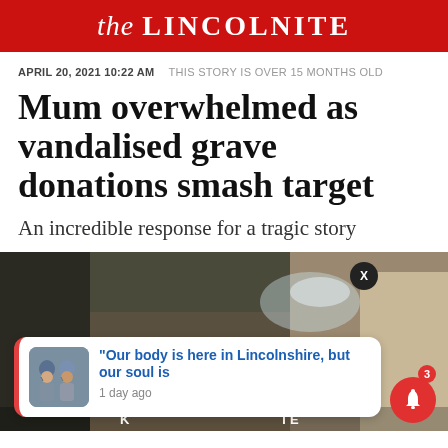the LINCOLNITE
APRIL 20, 2021 10:22 AM   THIS STORY IS OVER 15 MONTHS OLD
Mum overwhelmed as vandalised grave donations smash target
An incredible response for a tragic story
[Figure (photo): Photo of vandalised grave with debris and broken ornaments. Overlaid notification card reading: "Our body is here in Lincolnshire, but our soul is" with a thumbnail of two people wearing riding helmets, timestamp '1 day ago'. A close button (X) and a red notification bell with count 3 are also visible.]